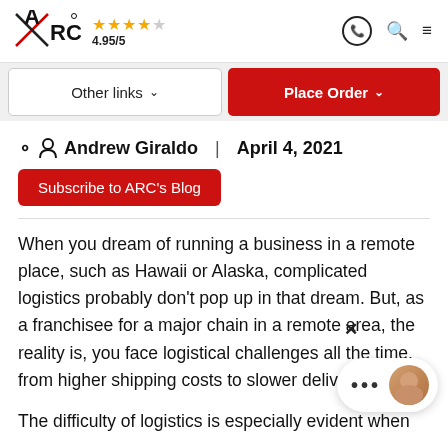ARC ★★★★☆ 4.95/5
Other links  |  Place Order
Andrew Giraldo | April 4, 2021
Subscribe to ARC's Blog
When you dream of running a business in a remote place, such as Hawaii or Alaska, complicated logistics probably don't pop up in that dream. But, as a franchisee for a major chain in a remote area, the reality is, you face logistical challenges all the time, from higher shipping costs to slower deliveries.
The difficulty of logistics is especially evident when